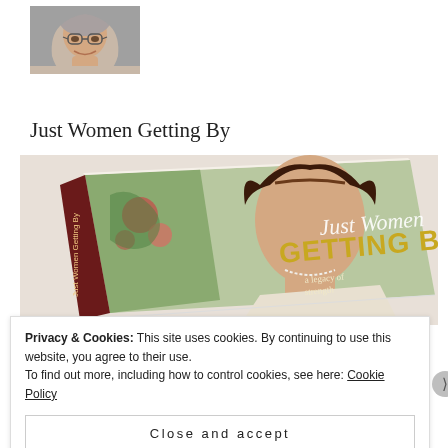[Figure (photo): Author photo: woman with glasses and grey-streaked hair, smiling, close-up portrait]
Just Women Getting By
[Figure (photo): Photo of a physical book titled 'Just Women Getting By' showing a woman in vintage style on the cover with floral decoration]
Privacy & Cookies: This site uses cookies. By continuing to use this website, you agree to their use.
To find out more, including how to control cookies, see here: Cookie Policy
Close and accept